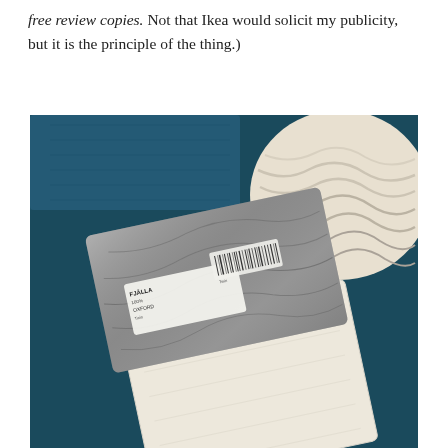free review copies. Not that Ikea would solicit my publicity, but it is the principle of the thing.)
[Figure (photo): A packaged IKEA textile product (pillow cover or similar fabric item) in plastic packaging with a product label, lying on a teal/dark blue fabric surface. In the upper right corner is a white/cream textured pillow. The packaged item shows a gray folded portion and a cream/beige fabric portion peeking out.]